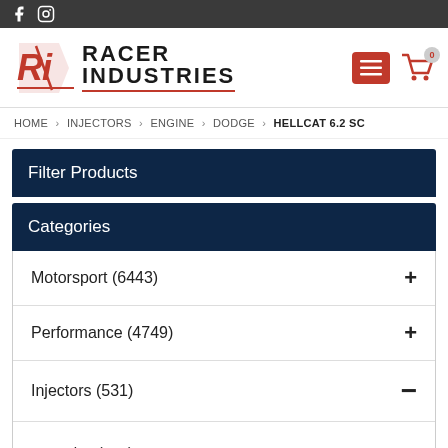Racer Industries - social icons top bar
[Figure (logo): Racer Industries logo with red RI monogram and bold text RACER INDUSTRIES]
HOME › INJECTORS › ENGINE › DODGE › HELLCAT 6.2 SC
Filter Products
Categories
Motorsport (6443)
Performance (4749)
Injectors (531)
Engine (525)